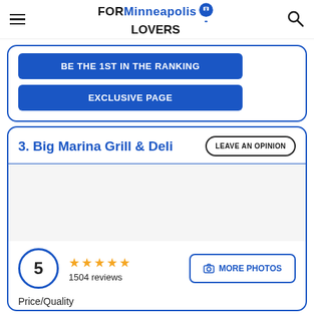FORMinneapolis LOVERS
BE THE 1ST IN THE RANKING
EXCLUSIVE PAGE
3. Big Marina Grill & Deli
[Figure (photo): Photo area for Big Marina Grill & Deli listing]
5 ★★★★★ 1504 reviews
MORE PHOTOS
Price/Quality